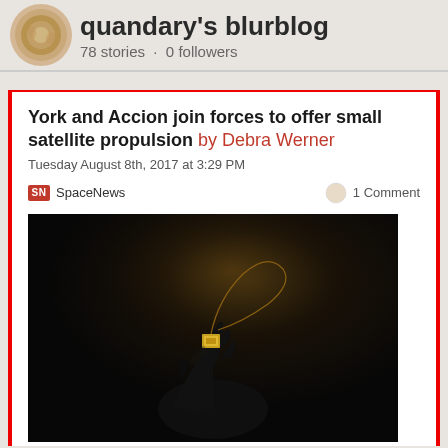quandary's blurblog — 78 stories · 0 followers
York and Accion join forces to offer small satellite propulsion by Debra Werner
Tuesday August 8th, 2017 at 3:29 PM
SN SpaceNews · 1 Comment
[Figure (photo): A gloved black hand holding a small gold chip/component with a thin wire loop extending above it, photographed against a dark background with a subtle warm spotlight]